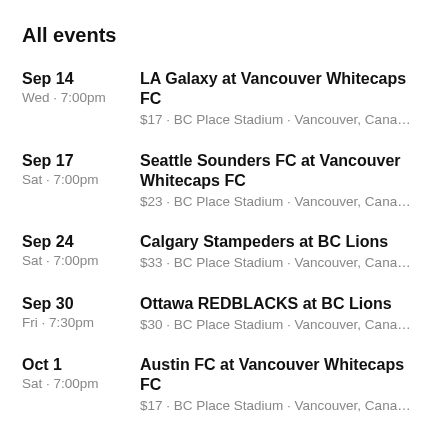All events
Sep 14 | Wed · 7:00pm | LA Galaxy at Vancouver Whitecaps FC | $17 · BC Place Stadium · Vancouver, Cana…
Sep 17 | Sat · 7:00pm | Seattle Sounders FC at Vancouver Whitecaps FC | $23 · BC Place Stadium · Vancouver, Cana…
Sep 24 | Sat · 7:00pm | Calgary Stampeders at BC Lions | $33 · BC Place Stadium · Vancouver, Cana…
Sep 30 | Fri · 7:30pm | Ottawa REDBLACKS at BC Lions | $30 · BC Place Stadium · Vancouver, Cana…
Oct 1 | Sat · 7:00pm | Austin FC at Vancouver Whitecaps FC | $17 · BC Place Stadium · Vancouver, Cana…